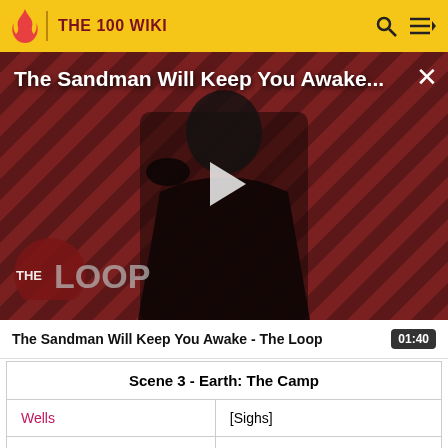THE 100 WIKI
[Figure (screenshot): Video thumbnail showing a dark-cloaked figure against a red diagonal striped background with 'THE LOOP' logo. Title overlay reads 'The Sandman Will Keep You Awake...' with a play button in the center.]
The Sandman Will Keep You Awake - The Loop  01:40
| Scene 3 - Earth: The Camp |  |
| --- | --- |
| Wells | [Sighs] |